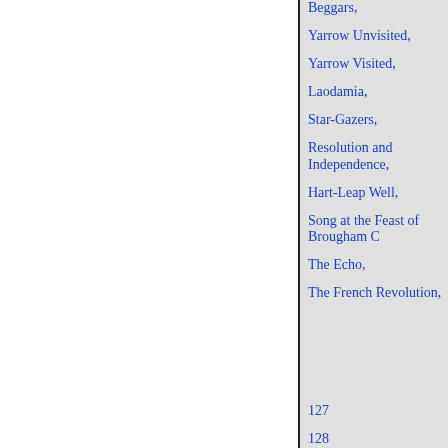Beggars,
Yarrow Unvisited,
Yarrow Visited,
Laodamia,
Star-Gazers,
Resolution and Independence,
Hart-Leap Well,
Song at the Feast of Brougham C
The Echo,
The French Revolution,
127
128
129
131